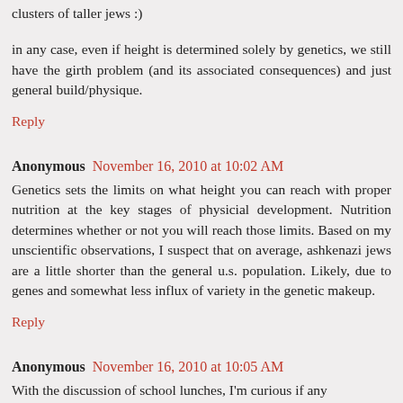clusters of taller jews :)
in any case, even if height is determined solely by genetics, we still have the girth problem (and its associated consequences) and just general build/physique.
Reply
Anonymous November 16, 2010 at 10:02 AM
Genetics sets the limits on what height you can reach with proper nutrition at the key stages of physicial development. Nutrition determines whether or not you will reach those limits. Based on my unscientific observations, I suspect that on average, ashkenazi jews are a little shorter than the general u.s. population. Likely, due to genes and somewhat less influx of variety in the genetic makeup.
Reply
Anonymous November 16, 2010 at 10:05 AM
With the discussion of school lunches, I'm curious if any